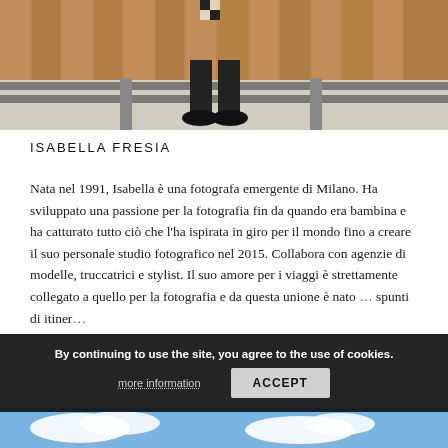[Figure (photo): Person standing on railway tracks in front of a wooden fence, wearing dark jeans, black shoes, and a checkered accessory. Gravel surrounds the tracks.]
ISABELLA FRESIA
Nata nel 1991, Isabella è una fotografa emergente di Milano. Ha sviluppato una passione per la fotografia fin da quando era bambina e ha catturato tutto ciò che l'ha ispirata in giro per il mondo fino a creare il suo personale studio fotografico nel 2015. Collabora con agenzie di modelle, truccatrici e stylist. Il suo amore per i viaggi è strettamente collegato a quello per la fotografia e da questa unione è nato ... spunti di itiner...
By continuing to use the site, you agree to the use of cookies.
more information   ACCEPT
[Figure (photo): Partial view of a photo showing blue sky with clouds, bottom portion of the page.]